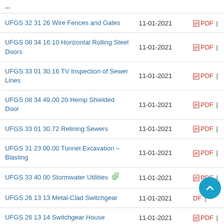| Name | Date | Links |
| --- | --- | --- |
| UFGS 32 31 26 Wire Fences and Gates | 11-01-2021 | PDF | |
| UFGS 08 34 16.10 Horizontal Rolling Steel Doors | 11-01-2021 | PDF | |
| UFGS 33 01 30.16 TV Inspection of Sewer Lines | 11-01-2021 | PDF | |
| UFGS 08 34 49.00 20 Hemp Shielded Door | 11-01-2021 | PDF | |
| UFGS 33 01 30.72 Relining Sewers | 11-01-2021 | PDF | |
| UFGS 31 23 00.00 Tunnel Excavation – Blasting | 11-01-2021 | PDF | |
| UFGS 33 40 00 Stormwater Utilities | 11-01-2021 | PDF | |
| UFGS 26 13 13 Metal-Clad Switchgear | 11-01-2021 | PDF | |
| UFGS 26 13 14 Switchgear House | 11-01-2021 | PDF | |